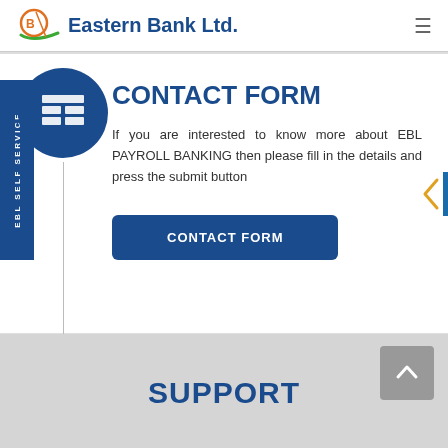Eastern Bank Ltd.
[Figure (logo): Eastern Bank Ltd. logo with stylized EB monogram and orange/green swoosh]
CONTACT FORM
If you are interested to know more about EBL PAYROLL BANKING then please fill in the details and press the submit button
CONTACT FORM (button)
SUPPORT
[Figure (illustration): EBL SELF SERVICE blue vertical tab with form/grid icon in blue circle]